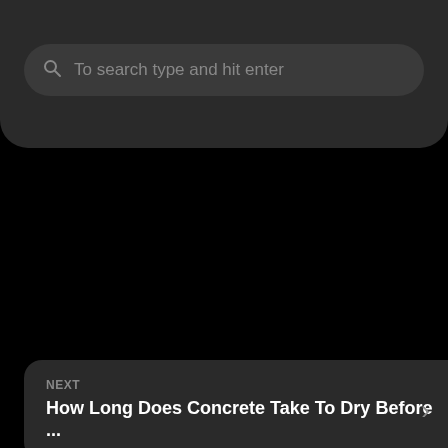[Figure (screenshot): Search bar with magnifying glass icon and placeholder text 'To search type and hit enter' on a dark rounded panel]
NEXT
How Long Does Concrete Take To Dry Before ...
PREVIOUS
Where Can I Watch Big Time Adolescence Ful...